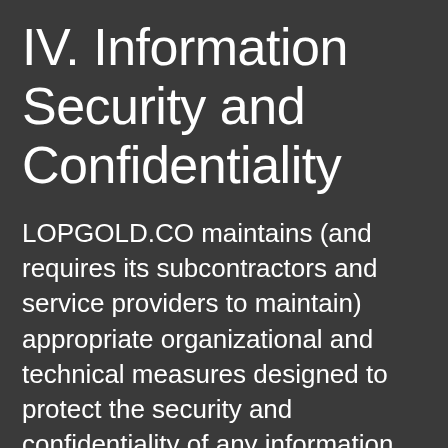IV. Information Security and Confidentiality
LOPGOLD.CO maintains (and requires its subcontractors and service providers to maintain) appropriate organizational and technical measures designed to protect the security and confidentiality of any information We process. However, no organizational or technical measures are 100% secure so You should take care